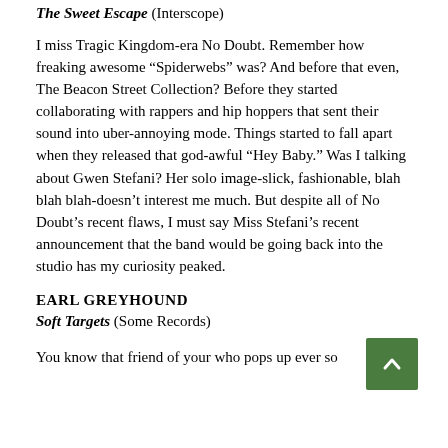The Sweet Escape (Interscope)
I miss Tragic Kingdom-era No Doubt. Remember how freaking awesome “Spiderwebs” was? And before that even, The Beacon Street Collection? Before they started collaborating with rappers and hip hoppers that sent their sound into uber-annoying mode. Things started to fall apart when they released that god-awful “Hey Baby.” Was I talking about Gwen Stefani? Her solo image-slick, fashionable, blah blah blah-doesn’t interest me much. But despite all of No Doubt’s recent flaws, I must say Miss Stefani’s recent announcement that the band would be going back into the studio has my curiosity peaked.
EARL GREYHOUND
Soft Targets (Some Records)
You know that friend of your who pops up ever so